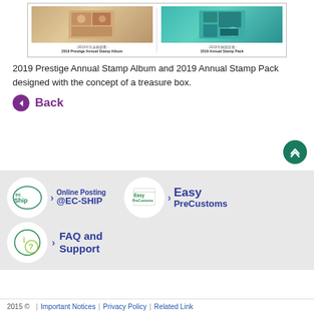[Figure (photo): Two stamp album products: 2019 Prestige Annual Stamp Album (brown/beige design) and 2019 Annual Stamp Pack (teal/green design) shown side by side in a bordered box with Chinese and English labels beneath each.]
2019 Prestige Annual Stamp Album and 2019 Annual Stamp Pack designed with the concept of a treasure box.
Back
[Figure (infographic): Footer navigation section on grey background showing three service icons: Online Posting @EC-SHIP (with ec-Ship logo circle), Easy PreCustoms (with EasyPreCustoms logo circle), and FAQ and Support (with green question mark circle). Each has a right-arrow chevron before the text label.]
2015 ©  |  Important Notices  |  Privacy Policy  |  Related Link